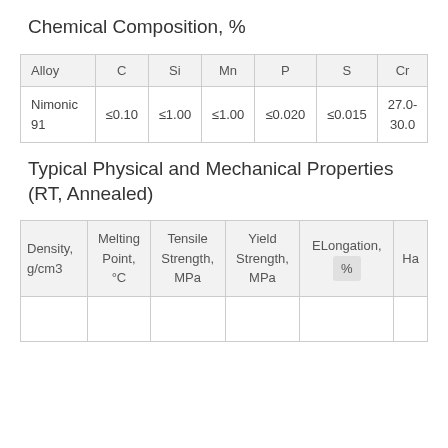Chemical Composition, %
| Alloy | C | Si | Mn | P | S | Cr |
| --- | --- | --- | --- | --- | --- | --- |
| Nimonic 91 | ≤0.10 | ≤1.00 | ≤1.00 | ≤0.020 | ≤0.015 | 27.0-30.0 |
Typical Physical and Mechanical Properties (RT, Annealed)
| Density, g/cm3 | Melting Point, °C | Tensile Strength, MPa | Yield Strength, MPa | ELongation, % | Ha |
| --- | --- | --- | --- | --- | --- |
|  |  |  |  |  |  |